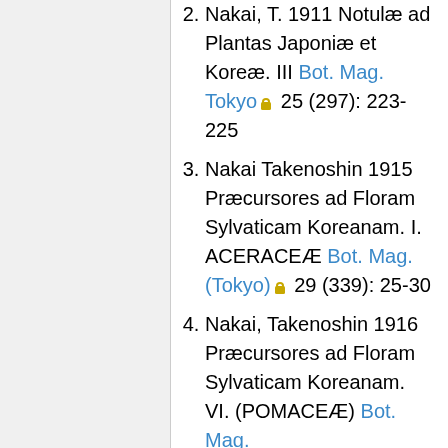2. Nakai, T. 1911 Notulæ ad Plantas Japoniæ et Koreæ. III Bot. Mag. Tokyo 25 (297): 223-225
3. Nakai Takenoshin 1915 Præcursores ad Floram Sylvaticam Koreanam. I. ACERACEÆ Bot. Mag. (Tokyo) 29 (339): 25-30
4. Nakai, Takenoshin 1916 Præcursores ad Floram Sylvaticam Koreanam. VI. (POMACEÆ) Bot. Mag.